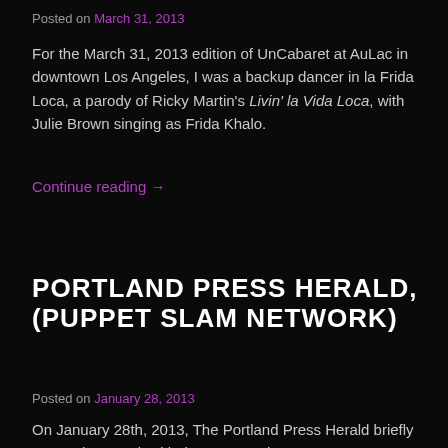Posted on March 31, 2013
For the March 31, 2013 edition of UnCabaret at AuLac in downtown Los Angeles, I was a backup dancer in la Frida Loca, a parody of Ricky Martin's Livin' la Vida Loca, with Julie Brown singing as Frida Khalo.
Continue reading →
PORTLAND PRESS HERALD, (PUPPET SLAM NETWORK)
Posted on January 28, 2013
On January 28th, 2013, The Portland Press Herald briefly covered my work with the Puppet Slam